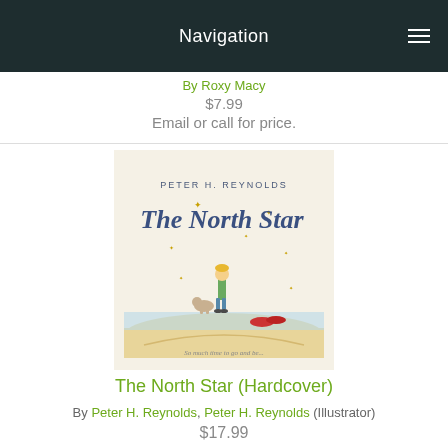Navigation
By Roxy Macy
$7.99
Email or call for price.
[Figure (photo): Book cover of The North Star by Peter H. Reynolds, showing a child standing outdoors with stars above, illustrated in a whimsical style]
The North Star (Hardcover)
By Peter H. Reynolds, Peter H. Reynolds (Illustrator)
$17.99